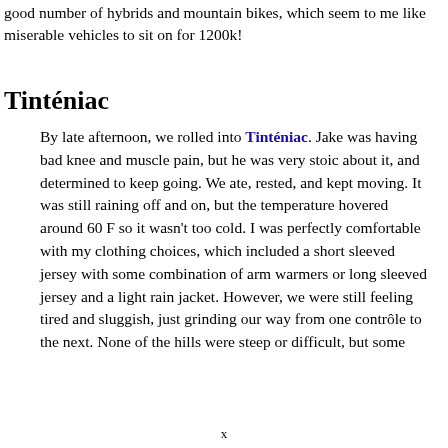good number of hybrids and mountain bikes, which seem to me like miserable vehicles to sit on for 1200k!
Tinténiac
By late afternoon, we rolled into Tinténiac. Jake was having bad knee and muscle pain, but he was very stoic about it, and determined to keep going. We ate, rested, and kept moving. It was still raining off and on, but the temperature hovered around 60 F so it wasn't too cold. I was perfectly comfortable with my clothing choices, which included a short sleeved jersey with some combination of arm warmers or long sleeved jersey and a light rain jacket. However, we were still feeling tired and sluggish, just grinding our way from one contrôle to the next. None of the hills were steep or difficult, but some
x